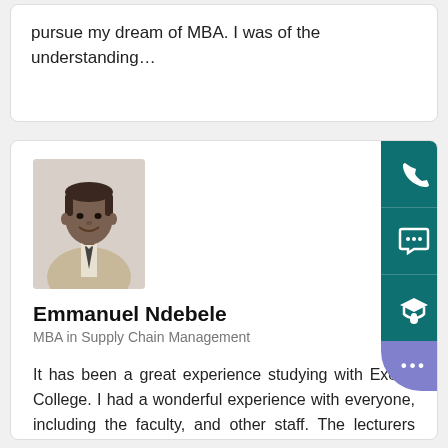pursue my dream of MBA. I was of the understanding…
[Figure (photo): Profile photo of Emmanuel Ndebele, a man in a light suit and tie]
Emmanuel Ndebele
MBA in Supply Chain Management
It has been a great experience studying with Exeed College. I had a wonderful experience with everyone, including the faculty, and other staff. The lecturers were very helpful and the